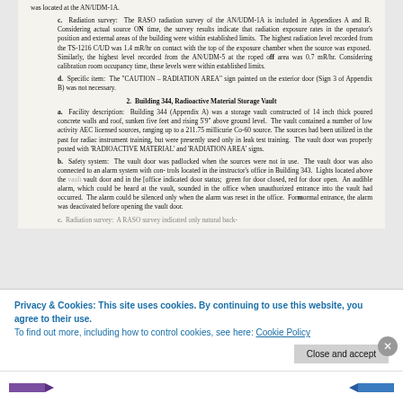was located at the AN/UDM-1A.
c. Radiation survey: The RASO radiation survey of the AN/UDM-1A is included in Appendices A and B. Considering actual source ON time, the survey results indicate that radiation exposure rates in the operator's position and external areas of the building were within established limits. The highest radiation level recorded from the TS-1216 C/UD was 1.4 mR/hr on contact with the top of the exposure chamber when the source was exposed. Similarly, the highest level recorded from the AN/UDM-5 at the roped off area was 0.7 mR/hr. Considering calibration room occupancy time, these levels were within established limits.
d. Specific item: The "CAUTION - RADIATION AREA" sign painted on the exterior door (Sign 3 of Appendix B) was not necessary.
2. Building 344, Radioactive Material Storage Vault
a. Facility description: Building 344 (Appendix A) was a storage vault constructed of 14 inch thick poured concrete walls and roof, sunken five feet and rising 5'9" above ground level. The vault contained a number of low activity AEC licensed sources, ranging up to a 211.75 millicurie Co-60 source. The sources had been utilized in the past for radiac instrument training, but were presently used only in leak test training. The vault door was properly posted with 'RADIOACTIVE MATERIAL' and 'RADIATION AREA' signs.
b. Safety system: The vault door was padlocked when the sources were not in use. The vault door was also connected to an alarm system with controls located in the instructor's office in Building 343. Lights located above the vault door and in the [office indicated door status; green for door closed, red for door open. An audible alarm, which could be heard at the vault, sounded in the office when unauthorized entrance into the vault had occurred. The alarm could be silenced only when the alarm was reset in the office. For normal entrance, the alarm was deactivated before opening the vault door.
c. Radiation survey: A RASO survey indicated only natural back-
Privacy & Cookies: This site uses cookies. By continuing to use this website, you agree to their use.
To find out more, including how to control cookies, see here: Cookie Policy